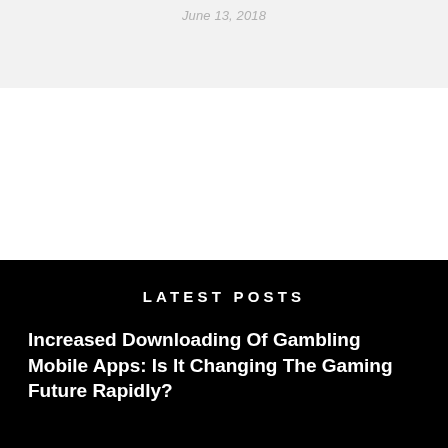June 13, 2018
LATEST POSTS
Increased Downloading Of Gambling Mobile Apps: Is It Changing The Gaming Future Rapidly?